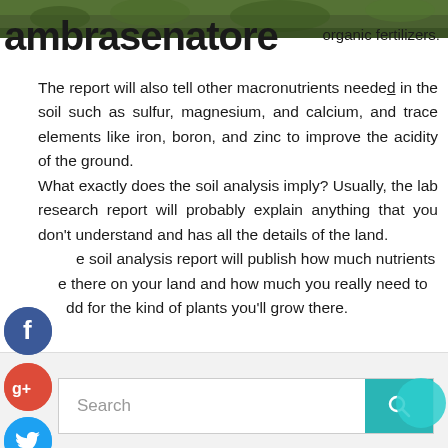[Figure (photo): Green foliage/plants photo strip at top of page]
ambrasenatore
organic fertilizers. The report will also tell other macronutrients needed in the soil such as sulfur, magnesium, and calcium, and trace elements like iron, boron, and zinc to improve the acidity of the ground.
What exactly does the soil analysis imply? Usually, the lab research report will probably explain anything that you don't understand and has all the details of the land.
The soil analysis report will publish how much nutrients are there on your land and how much you really need to add for the kind of plants you'll grow there.
[Figure (illustration): Facebook social share button (blue circle with f)]
[Figure (illustration): Google+ social share button (red circle with g+)]
[Figure (illustration): Twitter social share button (blue circle with bird)]
[Figure (illustration): Add/Plus social share button (dark teal circle with +)]
Search